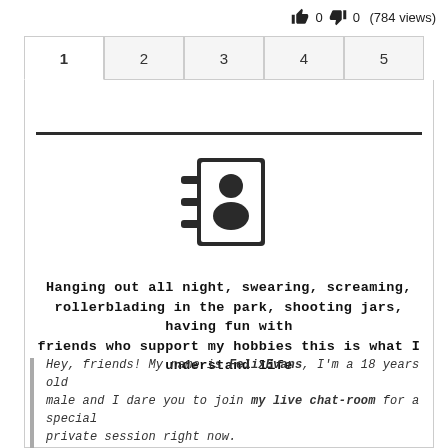👍 0 👎 0 (784 views)
[Figure (other): Address book / contact icon showing a person silhouette on a notebook with horizontal lines on the left side]
Hanging out all night, swearing, screaming, rollerblading in the park, shooting jars, having fun with friends who support my hobbies this is what I understand life
Hey, friends! My name is FelixEvans, I'm a 18 years old male and I dare you to join my live chat-room for a special private session right now.

Soft gentle lover. With me you will be fine)) so they say